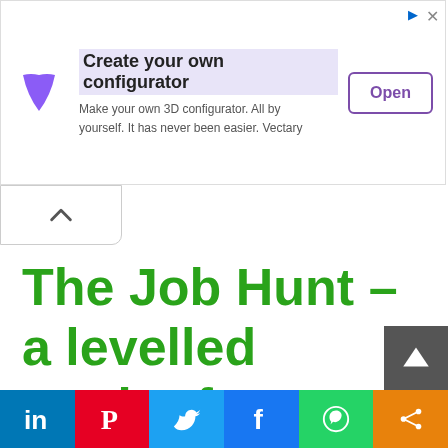[Figure (screenshot): Advertisement banner: Vectary logo (purple V shape), headline 'Create your own configurator', subtext 'Make your own 3D configurator. All by yourself. It has never been easier. Vectary', and an 'Open' button with purple border. Ad label and close icon in top-right corner.]
The Job Hunt – a levelled reader for Grade 2
[Figure (infographic): Social sharing bar with icons for LinkedIn, Pinterest, Twitter, Facebook, WhatsApp, and Share.]